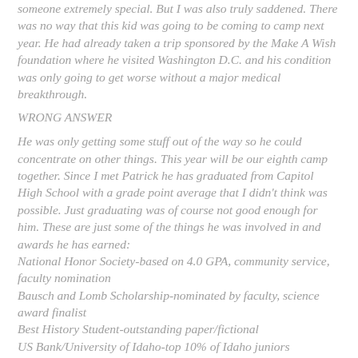someone extremely special. But I was also truly saddened. There was no way that this kid was going to be coming to camp next year. He had already taken a trip sponsored by the Make A Wish foundation where he visited Washington D.C. and his condition was only going to get worse without a major medical breakthrough.
WRONG ANSWER
He was only getting some stuff out of the way so he could concentrate on other things. This year will be our eighth camp together. Since I met Patrick he has graduated from Capitol High School with a grade point average that I didn't think was possible. Just graduating was of course not good enough for him. These are just some of the things he was involved in and awards he has earned: National Honor Society-based on 4.0 GPA, community service, faculty nomination Bausch and Lomb Scholarship-nominated by faculty, science award finalist Best History Student-outstanding paper/fictional US Bank/University of Idaho-top 10% of Idaho juniors